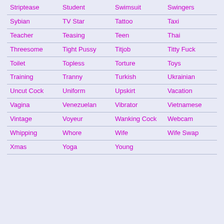| Striptease | Student | Swimsuit | Swingers |
| Sybian | TV Star | Tattoo | Taxi |
| Teacher | Teasing | Teen | Thai |
| Threesome | Tight Pussy | Titjob | Titty Fuck |
| Toilet | Topless | Torture | Toys |
| Training | Tranny | Turkish | Ukrainian |
| Uncut Cock | Uniform | Upskirt | Vacation |
| Vagina | Venezuelan | Vibrator | Vietnamese |
| Vintage | Voyeur | Wanking Cock | Webcam |
| Whipping | Whore | Wife | Wife Swap |
| Xmas | Yoga | Young |  |